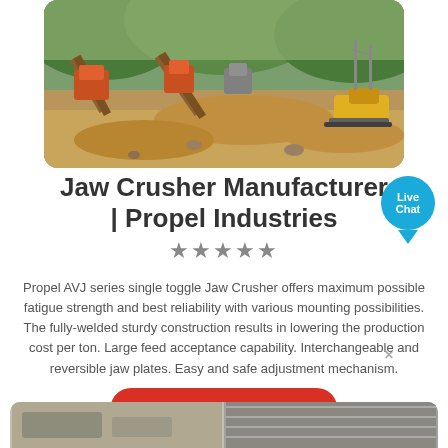[Figure (photo): Outdoor mining/quarry site with jaw crusher machinery, conveyor belts, heavy equipment, and excavated earth, surrounded by forested hills]
Jaw Crusher Manufacturer | Propel Industries
★★★★★
Propel AVJ series single toggle Jaw Crusher offers maximum possible fatigue strength and best reliability with various mounting possibilities. The fully-welded sturdy construction results in lowering the production cost per ton. Large feed acceptance capability. Interchangeable and reversible jaw plates. Easy and safe adjustment mechanism.
[Figure (other): Live Chat bubble widget with blue circle and speech tail]
Send a message to us
[Figure (photo): Partial bottom strip showing machinery/equipment images]